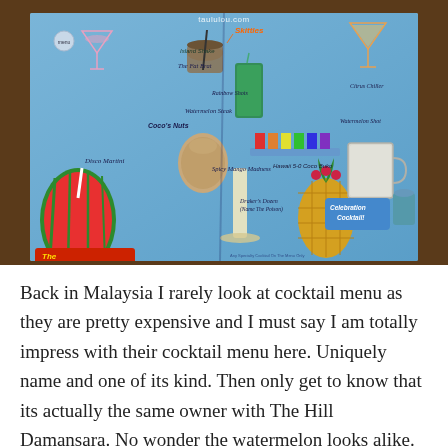[Figure (photo): A cocktail menu opened flat showing various illustrated cocktails including a watermelon drink, pineapple drink, Skittles cocktail, Coconuts, Spicy Mango Madness, and others on a blue background. A red banner at the bottom reads '10,000 SOLD THUS FAR'. The website taululou.com is shown at the top.]
Back in Malaysia I rarely look at cocktail menu as they are pretty expensive and I must say I am totally impress with their cocktail menu here. Uniquely name and one of its kind. Then only get to know that its actually the same owner with The Hill Damansara. No wonder the watermelon looks alike.